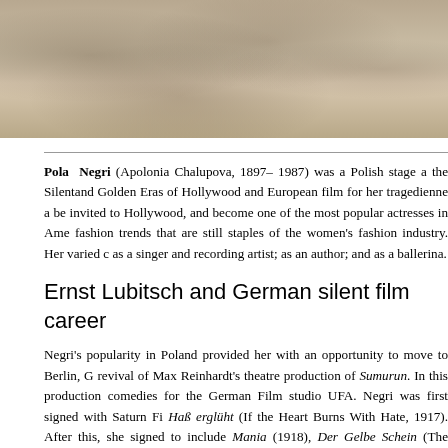[Figure (photo): Sepia/black-and-white historical photograph strip at the top of the page, appears to show people in early 20th century setting]
Pola Negri (Apolonia Chalupova, 1897– 1987) was a Polish stage a... the Silentand Golden Eras of Hollywood and European film for her tragedienne a... be invited to Hollywood, and become one of the most popular actresses in Ame... fashion trends that are still staples of the women's fashion industry. Her varied c... as a singer and recording artist; as an author; and as a ballerina.
Ernst Lubitsch and German silent film career
Negri's popularity in Poland provided her with an opportunity to move to Berlin, G... revival of Max Reinhardt's theatre production of Sumurun. In this production... comedies for the German Film studio UFA. Negri was first signed with Saturn Fi... Haß erglüht (If the Heart Burns With Hate, 1917). After this, she signed to... include Mania (1918), Der Gelbe Schein (The Yellow Ticket, also 1918), and Kom...
In 1918, Lubitsch convinced UFA to let him create a large-scale film with Negri a... Ma (The Eyes of the Mummy Ma, 1918), which was a popular success and lec... scale than the previous film. The next was Carmen (1918, reissued in the U... by Madame Dubarry (1919, released in the United States as Passion). Madame... to bring down the American embargo on German films and launch a demand for...